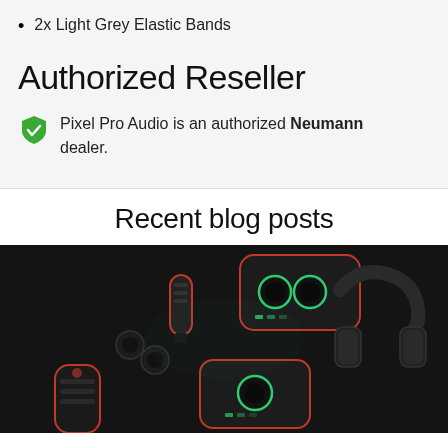2x Light Grey Elastic Bands
Authorized Reseller
Pixel Pro Audio is an authorized Neumann dealer.
Recent blog posts
[Figure (photo): Dark background photo showing audio equipment including microphones, audio interface/mixer with green LED knobs, over-ear headphones, and earbuds arranged on a dark surface.]